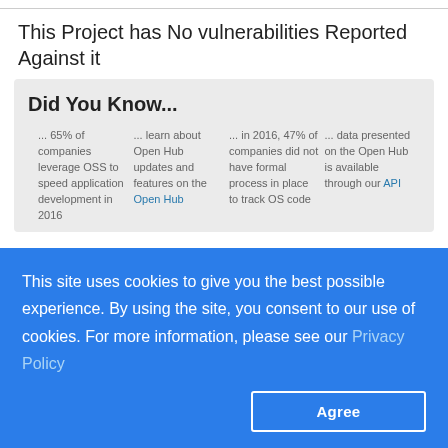This Project has No vulnerabilities Reported Against it
Did You Know...
... 65% of companies leverage OSS to speed application development in 2016
... learn about Open Hub updates and features on the Open Hub
... in 2016, 47% of companies did not have formal process in place to track OS code
... data presented on the Open Hub is available through our API
This site uses cookies to give you the best possible experience. By using the site, you consent to our use of cookies. For more information, please see our Privacy Policy